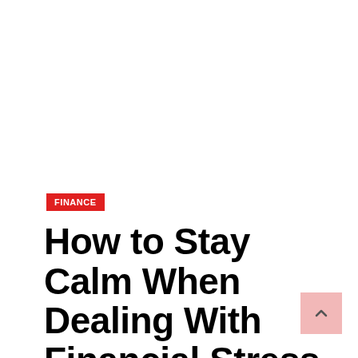FINANCE
How to Stay Calm When Dealing With Financial Stress